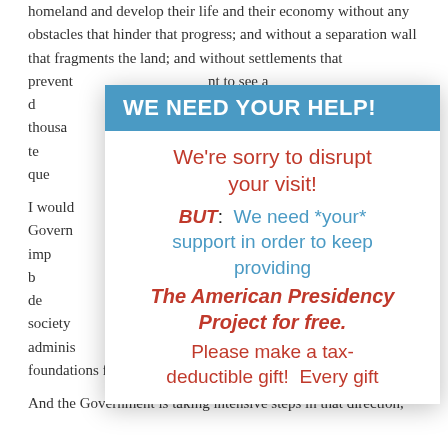homeland and develop their life and their economy without any obstacles that hinder that progress; and without a separation wall that fragments the land; and without settlements that prevent ... to see a d... with thousands ... crowded with te... points and que... ion and sie... I would... Government... ecurity and imp... ance that is b... ole of our de... he civil society... and adminis... that we can lay the foundations for a modern and democratic state.
[Figure (infographic): Modal overlay popup with blue header 'WE NEED YOUR HELP!' and body text: 'We're sorry to disrupt your visit! BUT: We need *your* support in order to keep providing The American Presidency Project for free. Please make a tax-deductible gift! Every gift']
And the Government is taking intensive steps in that direction,